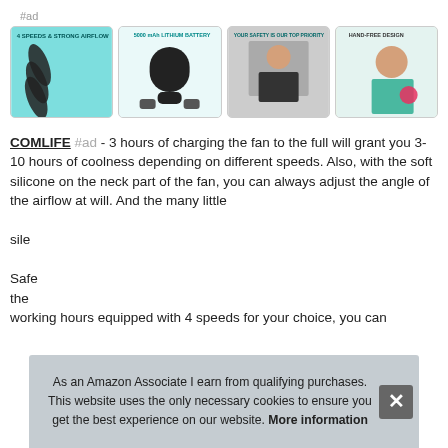#ad
[Figure (photo): Product image collage: four thumbnail images showing a neck fan product - (1) teal background with '4 speeds & strong airflow' text and fan blades, (2) '5000 mAh lithium battery' with black wearable fan device, (3) 'Your safety is our top priority' with woman wearing fan, (4) 'Hand-free design' with woman outdoors holding water bottle.]
COMLIFE #ad - 3 hours of charging the fan to the full will grant you 3-10 hours of coolness depending on different speeds. Also, with the soft silicone on the neck part of the fan, you can always adjust the angle of the airflow at will. And the many little [text obscured by overlay] sile[nced by overlay]

Safe[ty — obscured by overlay] the [obscured] working hours equipped with 4 speeds for your choice, you can
As an Amazon Associate I earn from qualifying purchases. This website uses the only necessary cookies to ensure you get the best experience on our website. More information